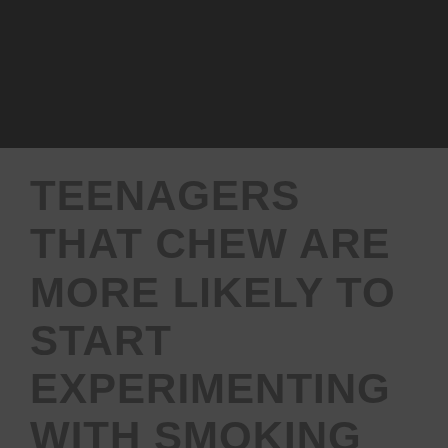TEENAGERS THAT CHEW ARE MORE LIKELY TO START EXPERIMENTING WITH SMOKING CIGARETTES.